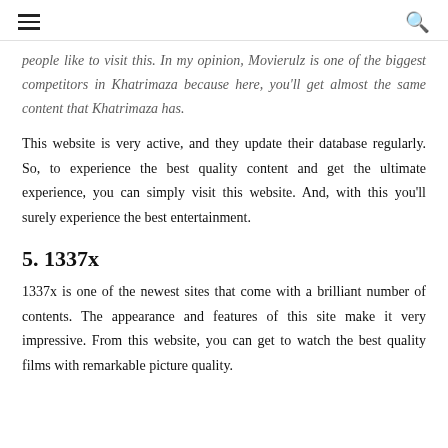[hamburger menu] [search icon]
people like to visit this. In my opinion, Movierulz is one of the biggest competitors in Khatrimaza because here, you'll get almost the same content that Khatrimaza has.
This website is very active, and they update their database regularly. So, to experience the best quality content and get the ultimate experience, you can simply visit this website. And, with this you'll surely experience the best entertainment.
5. 1337x
1337x is one of the newest sites that come with a brilliant number of contents. The appearance and features of this site make it very impressive. From this website, you can get to watch the best quality films with remarkable picture quality.